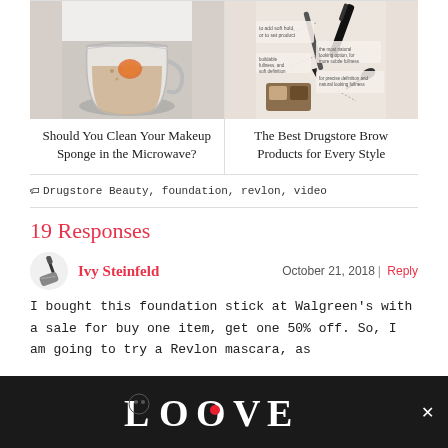[Figure (photo): Photo of a makeup sponge being cleaned in a cup of water with marble background]
Should You Clean Your Makeup Sponge in the Microwave?
[Figure (infographic): Infographic showing best drugstore brow products for different styles with annotations]
The Best Drugstore Brow Products for Every Style
Drugstore Beauty, foundation, revlon, video
19 Responses
[Figure (illustration): Avatar icon of a mascara wand/brush for commenter Ivy Steinfeld]
Ivy Steinfeld
October 21, 2018 | Reply
I bought this foundation stick at Walgreen's with a sale for buy one item, get one 50% off. So, I am going to try a Revlon mascara, as we...about...ed sign
[Figure (illustration): LOOVE advertisement banner with decorative black and white lettering and a red heart]